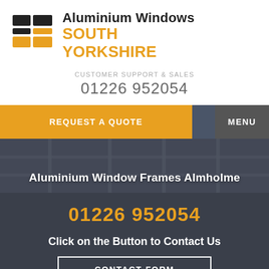[Figure (logo): Aluminium Windows South Yorkshire logo with geometric window pane icon in black and yellow/gold]
Aluminium Windows SOUTH YORKSHIRE
CUSTOMER SUPPORT & SALES
01226 952054
REQUEST A QUOTE
MENU
[Figure (photo): Background photo of aluminium window frames, dark blueish-grey tones]
Aluminium Window Frames Almholme
01226 952054
Click on the Button to Contact Us
CONTACT FORM